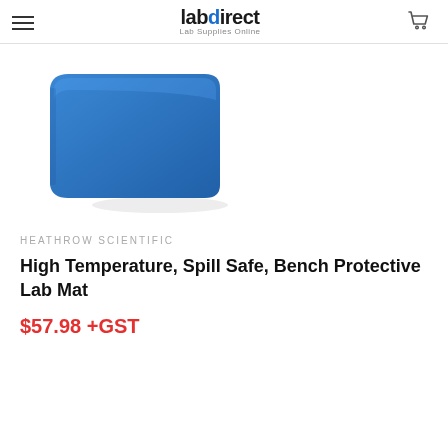labdirect Lab Supplies Online
[Figure (photo): Blue rectangular lab mat / bench mat, viewed from a slight angle, with rounded corners, on a white background.]
HEATHROW SCIENTIFIC
High Temperature, Spill Safe, Bench Protective Lab Mat
$57.98 +GST